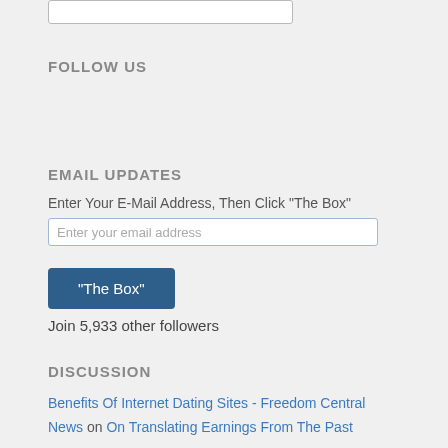FOLLOW US
EMAIL UPDATES
Enter Your E-Mail Address, Then Click "The Box"
Enter your email address
"The Box"
Join 5,933 other followers
DISCUSSION
Benefits Of Internet Dating Sites - Freedom Central News on On Translating Earnings From The Past